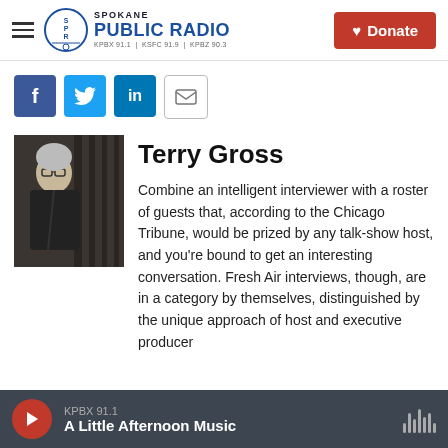Spokane Public Radio — KPBX 91.1 | KSFC 91.9 | KPBZ 90.3
[Figure (illustration): Social sharing buttons: Facebook, Twitter, LinkedIn, Email]
[Figure (photo): Black and white photo of Terry Gross standing in front of shelving units]
Terry Gross
Combine an intelligent interviewer with a roster of guests that, according to the Chicago Tribune, would be prized by any talk-show host, and you're bound to get an interesting conversation. Fresh Air interviews, though, are in a category by themselves, distinguished by the unique approach of host and executive producer
KPBX 91.1 — A Little Afternoon Music